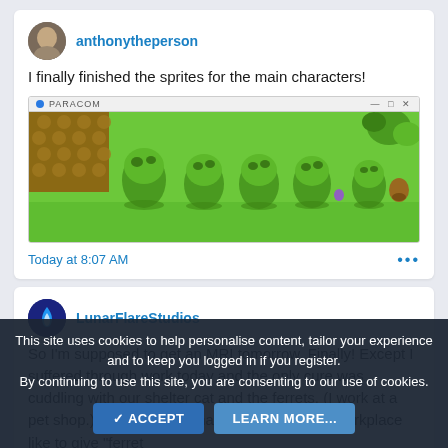anthonytheperson
I finally finished the sprites for the main characters!
[Figure (screenshot): Game screenshot showing a top-down RPG scene with green terrain and character sprites that look like green blob/slime characters, displayed in a Windows application window titled 'PARACOM']
Today at 8:07 AM
LunarFlareStudios
So I'm supposed to get an MRI tomorrow. Finally! Except I suffered through work today and the only cure was cuddling with our shelter cat and the ferrets. (I work at a pet shop.) Did you know that the ferrets at my workplace like to give "ferret
This site uses cookies to help personalise content, tailor your experience and to keep you logged in if you register.
By continuing to use this site, you are consenting to our use of cookies.
✓ ACCEPT
LEARN MORE...